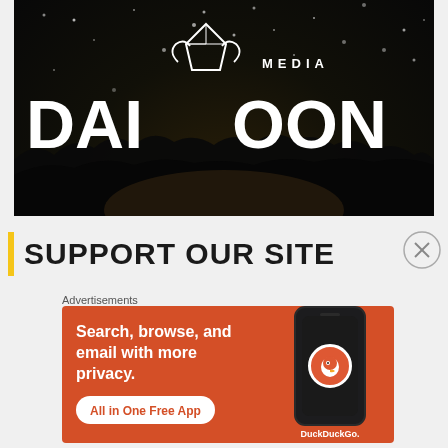[Figure (logo): Daimoon Media logo overlaid on a dark concert/crowd background with confetti. Large white text reads 'DAI◇OON' with 'MEDIA' above the diamond icon.]
SUPPORT OUR SITE
[Figure (screenshot): DuckDuckGo advertisement on orange background. Text: 'Search, browse, and email with more privacy. All in One Free App' with DuckDuckGo branding and phone mockup.]